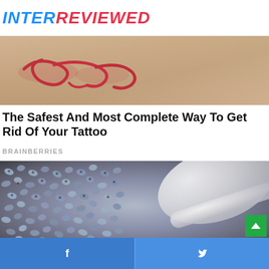INTERREVIEWED
[Figure (photo): Close-up photo of a red raised tattoo or skin marking on human skin]
The Safest And Most Complete Way To Get Rid Of Your Tattoo
BRAINBERRIES
[Figure (photo): Close-up photo of soaked chia seeds on a white spoon, seeds appear gray/blue and gelatinous]
[Figure (other): Green scroll-to-top button with upward arrow]
Facebook share button and Twitter share button